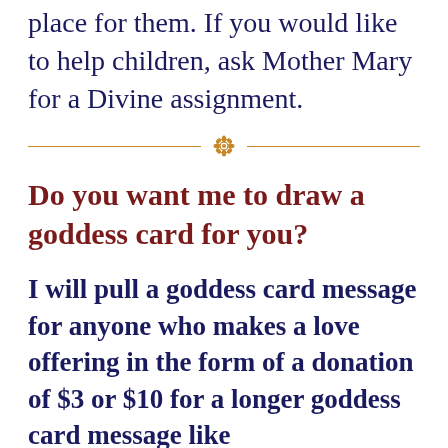place for them. If you would like to help children, ask Mother Mary for a Divine assignment.
[Figure (illustration): Decorative horizontal divider with golden lines and a central floral ornament]
Do you want me to draw a goddess card for you?
I will pull a goddess card message for anyone who makes a love offering in the form of a donation of $3 or $10 for a longer goddess card message like